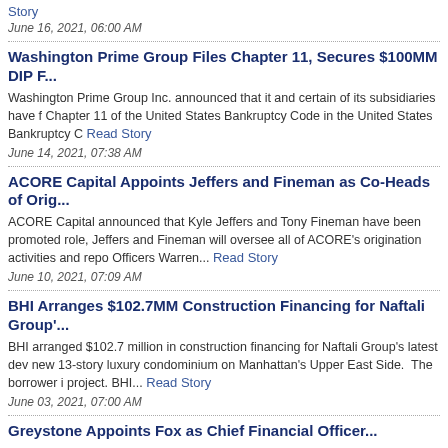Story
June 16, 2021, 06:00 AM
Washington Prime Group Files Chapter 11, Secures $100MM DIP F...
Washington Prime Group Inc. announced that it and certain of its subsidiaries have filed Chapter 11 of the United States Bankruptcy Code in the United States Bankruptcy C... Read Story
June 14, 2021, 07:38 AM
ACORE Capital Appoints Jeffers and Fineman as Co-Heads of Orig...
ACORE Capital announced that Kyle Jeffers and Tony Fineman have been promoted to role, Jeffers and Fineman will oversee all of ACORE's origination activities and repo Officers Warren... Read Story
June 10, 2021, 07:09 AM
BHI Arranges $102.7MM Construction Financing for Naftali Group'...
BHI arranged $102.7 million in construction financing for Naftali Group's latest dev new 13-story luxury condominium on Manhattan's Upper East Side. The borrower i project. BHI... Read Story
June 03, 2021, 07:00 AM
Greystone Appoints Fox as Chief Financial Officer